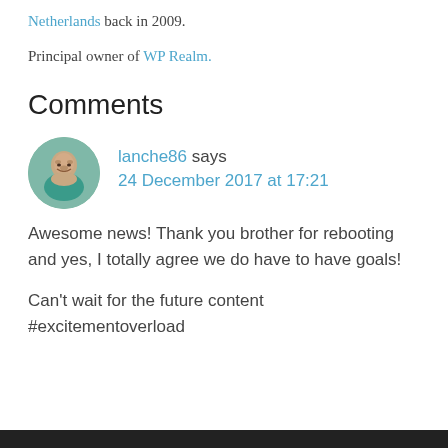Netherlands back in 2009.
Principal owner of WP Realm.
Comments
[Figure (photo): Round avatar photo of commenter lanche86, a young man smiling]
lanche86 says
24 December 2017 at 17:21
Awesome news! Thank you brother for rebooting and yes, I totally agree we do have to have goals!

Can't wait for the future content #excitementoverload